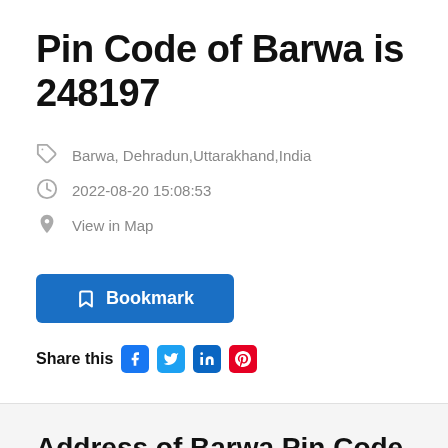Pin Code of Barwa is 248197
Barwa, Dehradun,Uttarakhand,India
2022-08-20 15:08:53
View in Map
Bookmark
Share this
Address of Barwa Pin Code